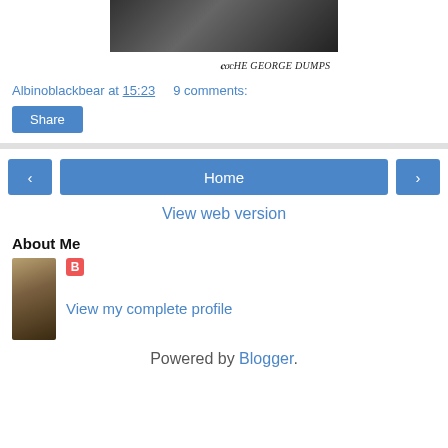[Figure (photo): Black and white photo of people at what appears to be a music or recording session, partially cropped at top]
[Figure (logo): The George Dumps logo text in decorative serif/gothic style font]
Albinoblackbear at 15:23    9 comments:
Share
‹   Home   ›
View web version
About Me
[Figure (photo): Small sepia-toned profile photo of a woman]
[Figure (logo): Blogger icon (orange square with B)]
View my complete profile
Powered by Blogger.